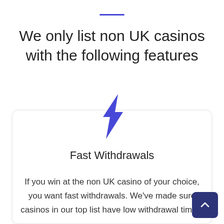We only list non UK casinos with the following features
[Figure (illustration): Blue lightning bolt icon representing fast withdrawals]
Fast Withdrawals
If you win at the non UK casino of your choice, you want fast withdrawals. We've made sure casinos in our top list have low withdrawal times.